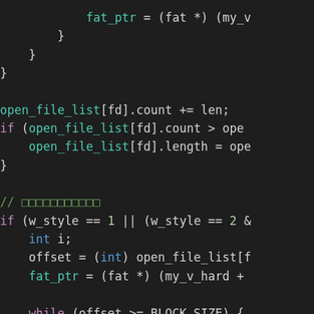[Figure (screenshot): Dark-themed source code editor showing C code snippet with syntax highlighting. Code includes closing braces, open_file_list operations, a comment with Unicode characters, a conditional if statement with w_style comparisons, variable declarations, offset and fat_ptr assignments, and a while loop condition.]